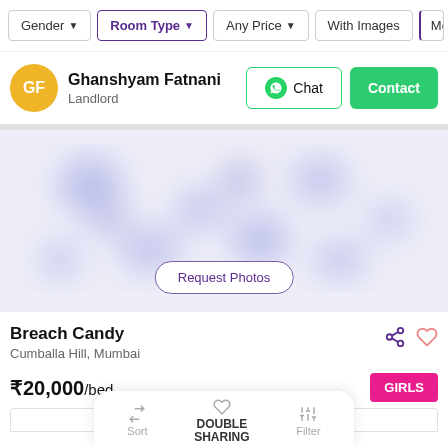Gender | Room Type | Any Price | With Images | Mo...
GF — Ghanshyam Fatnani, Landlord
Chat | Contact
[Figure (photo): Blurred photo placeholder with Request Photos button]
Breach Candy
Cumballa Hill, Mumbai
₹20,000/bed
GIRLS
Sort | DOUBLE SHARING | Filter